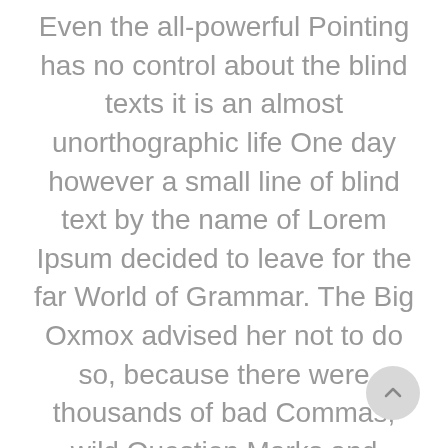Even the all-powerful Pointing has no control about the blind texts it is an almost unorthographic life One day however a small line of blind text by the name of Lorem Ipsum decided to leave for the far World of Grammar. The Big Oxmox advised her not to do so, because there were thousands of bad Commas, wild Question Marks and devious Semikoli, but the Little Blind Text didn't listen. She packed her seven versalia, put her initial into the belt and made herself on the way. When she reached the first hills of the Italic Mountains, she had a last view back on skyline of her hometown Bookmarksgrove,